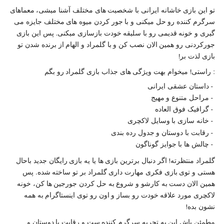تو این بازی خاشانه ایرانی با شخصیت های مختلف آشنا میشی، معماهای سرگرم کننده رو حل میکنی و با جور کردن میوه های مختلف جایزه می گیری و خونه قدیمی رو با سلیقه خودت بازسازی میکنی. پس این بازی جورکردنی رو همین الان نصب کن و با گلمراد و الهام از برنده شدن تو بازی لذت بر!
: راستی! میخوام بهت ویژگی های جذاب بازی گلمراد رو بگم
- داستان عشقی ایرانی
- مراحل متنوع و مهیج
- گرافیک فوق العاده
- خانه سازی با وسایل لاکچری
- رقابت با دوستان و جدول رده بندی
- چالش ها با جوایز گوناگون
گلمراد منتظرته! اگر دنبال برترین بازی ها یا یه بازی رایگان جدید باحال هستی و توی بازی فکری مهارت داری گلمراد بر تو ساخته شده. پس همین الان دست به کارشو و شروع به حل کردن جورجین ها کن، خونه لاکچری مورد علاقه خودت رو بساز و اون رو توی اینستاگرام به همه نشون بده!
مطمئن باش این یه تجربه سرگرم کننده ست و رقابت با دوستان و مسابقه